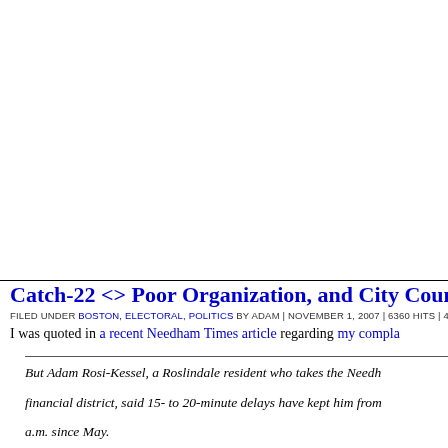Catch-22 <> Poor Organization, and City Council Endo...
FILED UNDER BOSTON, ELECTORAL, POLITICS BY ADAM | NOVEMBER 1, 2007 | 6360 HITS | 4 CO...
I was quoted in a recent Needham Times article regarding my compla...
But Adam Rosi-Kessel, a Roslindale resident who takes the Needh... financial district, said 15- to 20-minute delays have kept him fro... a.m. since May.
Now Rosi-Kessel, a lawyer who biked to work when he lived in Ja... about trading in his Charlie Card again.